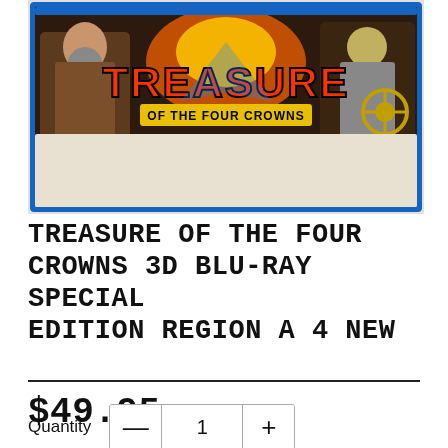[Figure (photo): Blu-ray case cover art for 'Treasure of the Four Crowns 3D' showing illustrated fantasy/action artwork with the title in large red and yellow letters on a blue Blu-ray case]
TREASURE OF THE FOUR CROWNS 3D BLU-RAY SPECIAL EDITION REGION A 4 NEW
$49.95
Quantity 1